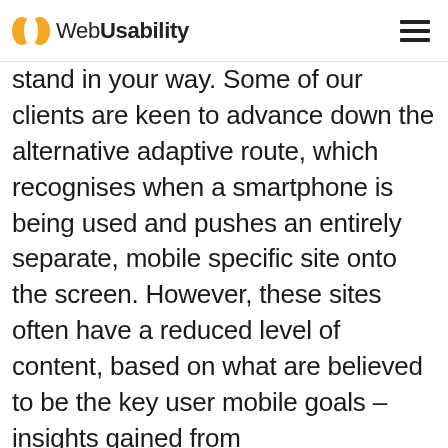WebUsability
stand in your way. Some of our clients are keen to advance down the alternative adaptive route, which recognises when a smartphone is being used and pushes an entirely separate, mobile specific site onto the screen. However, these sites often have a reduced level of content, based on what are believed to be the key user mobile goals – insights gained from